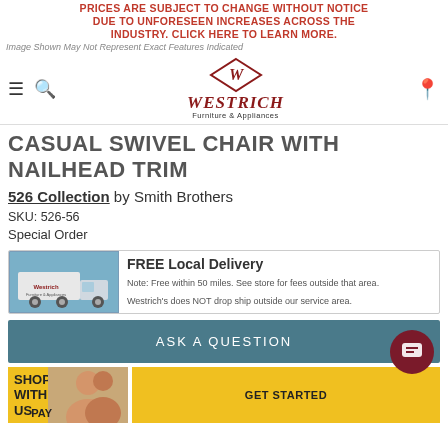PRICES ARE SUBJECT TO CHANGE WITHOUT NOTICE DUE TO UNFORESEEN INCREASES ACROSS THE INDUSTRY. CLICK HERE TO LEARN MORE.
Image Shown May Not Represent Exact Features Indicated
[Figure (logo): Westrich Furniture & Appliances logo with diamond shape and navigation icons]
CASUAL SWIVEL CHAIR WITH NAILHEAD TRIM
526 Collection by Smith Brothers
SKU: 526-56
Special Order
[Figure (infographic): FREE Local Delivery banner with Westrich delivery truck image. Note: Free within 50 miles. See store for fees outside that area. Westrich's does NOT drop ship outside our service area.]
ASK A QUESTION
[Figure (infographic): Bottom banner with SHOP WITH US text, person photo, PAY label, and GET STARTED button in yellow]